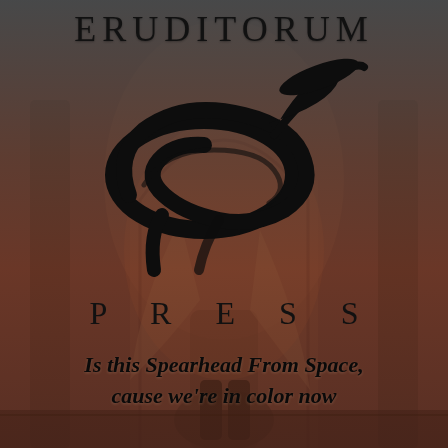ERUDITORUM
[Figure (logo): Eruditorum Press logo: a stylized cursive 'EP' monogram in black, with swooping calligraphic strokes forming an oval shape with a ribbon-like flourish]
PRESS
Is this Spearhead From Space, cause we're in color now